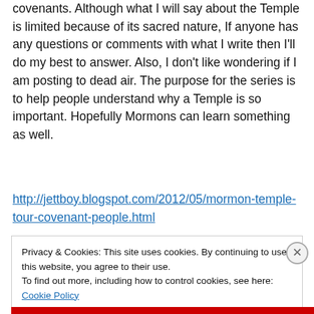covenants. Although what I will say about the Temple is limited because of its sacred nature, If anyone has any questions or comments with what I write then I'll do my best to answer. Also, I don't like wondering if I am posting to dead air. The purpose for the series is to help people understand why a Temple is so important. Hopefully Mormons can learn something as well.
http://jettboy.blogspot.com/2012/05/mormon-temple-tour-covenant-people.html
Privacy & Cookies: This site uses cookies. By continuing to use this website, you agree to their use.
To find out more, including how to control cookies, see here: Cookie Policy
Close and accept